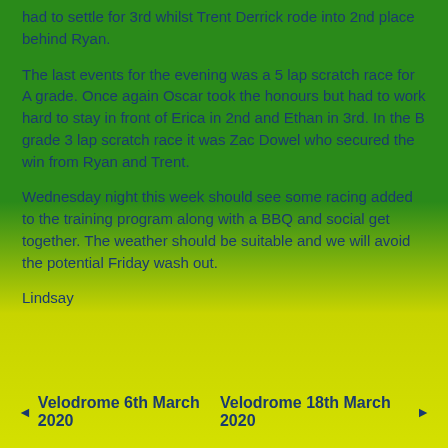had to settle for 3rd whilst Trent Derrick rode into 2nd place behind Ryan.
The last events for the evening was a 5 lap scratch race for A grade. Once again Oscar took the honours but had to work hard to stay in front of Erica in 2nd and Ethan in 3rd. In the B grade 3 lap scratch race it was Zac Dowel who secured the win from Ryan and Trent.
Wednesday night this week should see some racing added to the training program along with a BBQ and social get together. The weather should be suitable and we will avoid the potential Friday wash out.
Lindsay
◄ Velodrome 6th March 2020    Velodrome 18th March 2020 ►